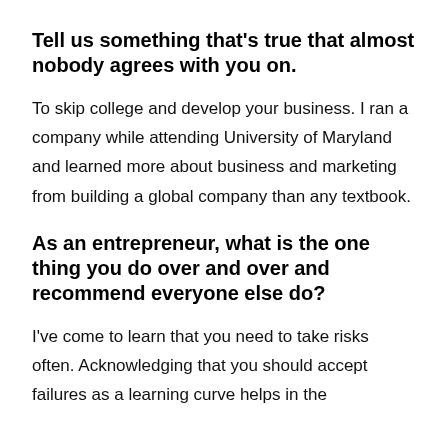Tell us something that's true that almost nobody agrees with you on.
To skip college and develop your business. I ran a company while attending University of Maryland and learned more about business and marketing from building a global company than any textbook.
As an entrepreneur, what is the one thing you do over and over and recommend everyone else do?
I've come to learn that you need to take risks often. Acknowledging that you should accept failures as a learning curve helps in the